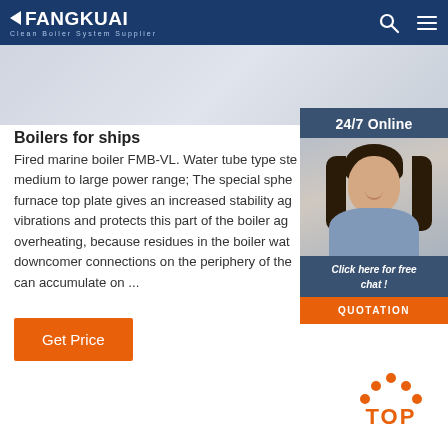FANGKUAI Clean Boiler System Supplier
[Figure (photo): Banner image with light gray/blue gradient background representing product imagery]
[Figure (photo): 24/7 Online customer service sidebar widget with photo of woman with headset, 'Click here for free chat!' text and QUOTATION button]
Boilers for ships
Fired marine boiler FMB-VL. Water tube type ste medium to large power range; The special sphe furnace top plate gives an increased stability ag vibrations and protects this part of the boiler ag overheating, because residues in the boiler wat downcomer connections on the periphery of the can accumulate on ...
[Figure (other): Orange 'Get Price' button]
[Figure (other): Orange dotted arc TOP icon in bottom right corner]